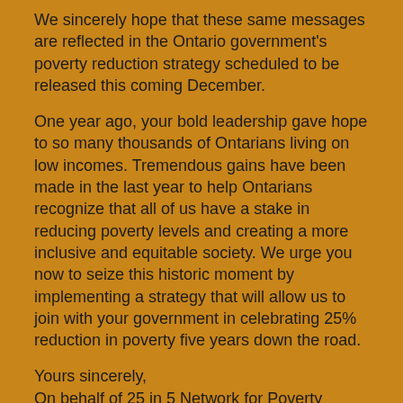We sincerely hope that these same messages are reflected in the Ontario government's poverty reduction strategy scheduled to be released this coming December.
One year ago, your bold leadership gave hope to so many thousands of Ontarians living on low incomes. Tremendous gains have been made in the last year to help Ontarians recognize that all of us have a stake in reducing poverty levels and creating a more inclusive and equitable society. We urge you now to seize this historic moment by implementing a strategy that will allow us to join with your government in celebrating 25% reduction in poverty five years down the road.
Yours sincerely,
On behalf of 25 in 5 Network for Poverty Reduction:
Peter Clutterbuck, Social Planning Network of Ontario
Mike Creek, Voices from the Street